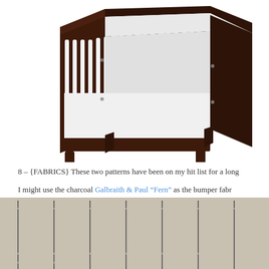[Figure (photo): A modern baby crib with dark espresso/walnut wood frame and white vertical spindles/slats, on angled legs, photographed on white background from a three-quarter angle.]
8 – {FABRICS} These two patterns have been on my hit list for a long
I might use the charcoal Galbraith & Paul “Fern” as the bumper fabr
[Figure (photo): Close-up of Galbraith & Paul 'Fern' fabric in charcoal colorway — a repeating pattern of stylized fern/leaf stems in dark charcoal gray on a cream/beige background.]